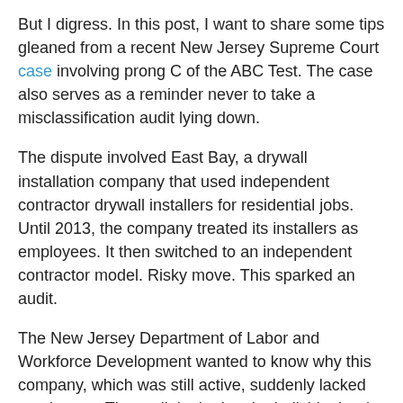But I digress. In this post, I want to share some tips gleaned from a recent New Jersey Supreme Court case involving prong C of the ABC Test. The case also serves as a reminder never to take a misclassification audit lying down.
The dispute involved East Bay, a drywall installation company that used independent contractor drywall installers for residential jobs. Until 2013, the company treated its installers as employees. It then switched to an independent contractor model. Risky move. This sparked an audit.
The New Jersey Department of Labor and Workforce Development wanted to know why this company, which was still active, suddenly lacked employees. The audit looked at the individuals who continued to install drywall and examined whether, under New Jersey's ABC Test, they were independent contractors or employees.
You can guess what happened next. The Department found that 43 installers were misclassified and it is a...